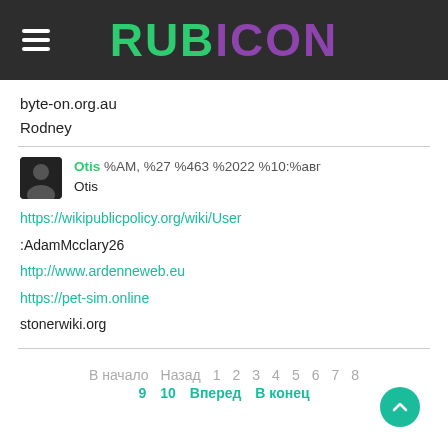RUBICON
byte-on.org.au
Rodney
Otis %AM, %27 %463 %2022 %10:%авг
Otis
https://wikipublicpolicy.org/wiki/User:AdamMcclary26
http://www.ardenneweb.eu
https://pet-sim.online
stonerwiki.org
В начало  Назад  1  2  3  4  5  6  7  8  9  10  Вперед  В конец
Leave a comment